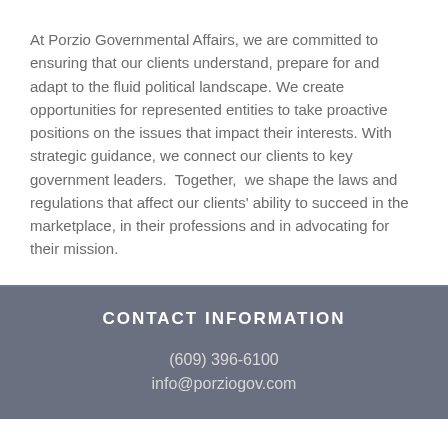At Porzio Governmental Affairs, we are committed to ensuring that our clients understand, prepare for and adapt to the fluid political landscape. We create opportunities for represented entities to take proactive positions on the issues that impact their interests. With strategic guidance, we connect our clients to key government leaders.  Together,  we shape the laws and regulations that affect our clients' ability to succeed in the marketplace, in their professions and in advocating for their mission.
CONTACT INFORMATION
(609) 396-6100
info@porziogov.com